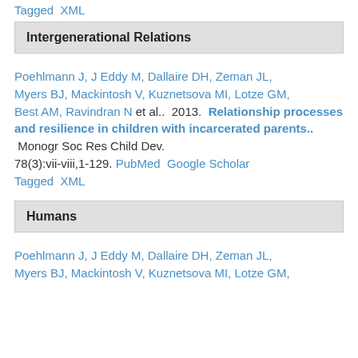Tagged XML
Intergenerational Relations
Poehlmann J, J Eddy M, Dallaire DH, Zeman JL, Myers BJ, Mackintosh V, Kuznetsova MI, Lotze GM, Best AM, Ravindran N et al..  2013.  Relationship processes and resilience in children with incarcerated parents..  Monogr Soc Res Child Dev. 78(3):vii-viii,1-129.  PubMed  Google Scholar  Tagged  XML
Humans
Poehlmann J, J Eddy M, Dallaire DH, Zeman JL, Myers BJ, Mackintosh V, Kuznetsova MI, Lotze GM,